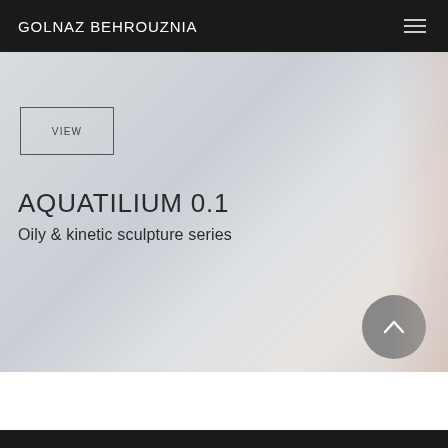GOLNAZ BEHROUZNIA
[Figure (photo): Light grey and warm-toned background photo forming the hero image of a kinetic sculpture website]
VIEW
AQUATILIUM 0.1
Oily & kinetic sculpture series